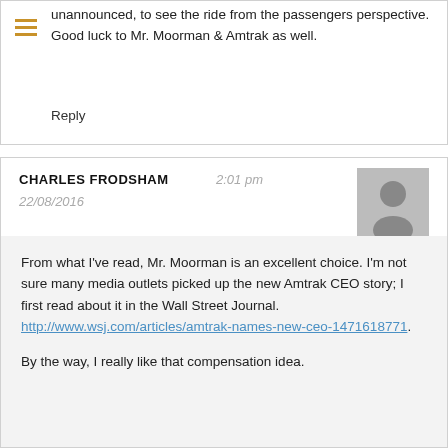unannounced, to see the ride from the passengers perspective. Good luck to Mr. Moorman & Amtrak as well.
Reply
CHARLES FRODSHAM  2:01 pm  22/08/2016
[Figure (illustration): Gray placeholder avatar icon showing silhouette of a person]
From what I've read, Mr. Moorman is an excellent choice. I'm not sure many media outlets picked up the new Amtrak CEO story; I first read about it in the Wall Street Journal. http://www.wsj.com/articles/amtrak-names-new-ceo-1471618771.
By the way, I really like that compensation idea.